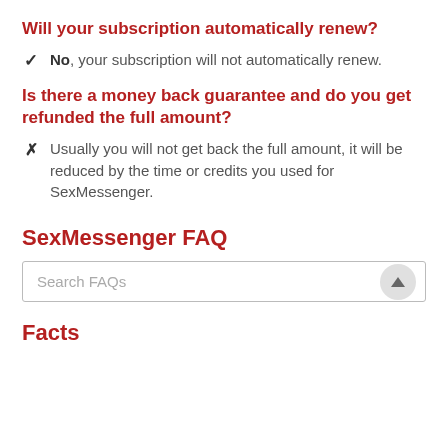Will your subscription automatically renew?
No, your subscription will not automatically renew.
Is there a money back guarantee and do you get refunded the full amount?
Usually you will not get back the full amount, it will be reduced by the time or credits you used for SexMessenger.
SexMessenger FAQ
Search FAQs
Facts